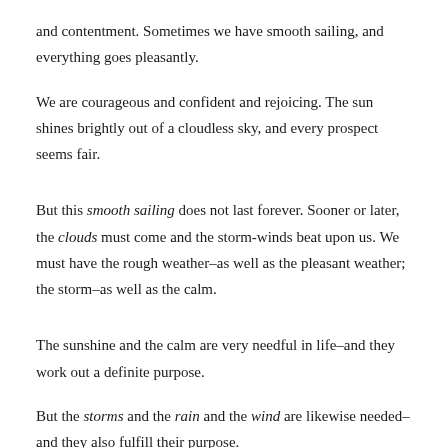and contentment. Sometimes we have smooth sailing, and everything goes pleasantly.
We are courageous and confident and rejoicing. The sun shines brightly out of a cloudless sky, and every prospect seems fair.
But this smooth sailing does not last forever. Sooner or later, the clouds must come and the storm-winds beat upon us. We must have the rough weather–as well as the pleasant weather; the storm–as well as the calm.
The sunshine and the calm are very needful in life–and they work out a definite purpose.
But the storms and the rain and the wind are likewise needed–and they also fulfill their purpose.